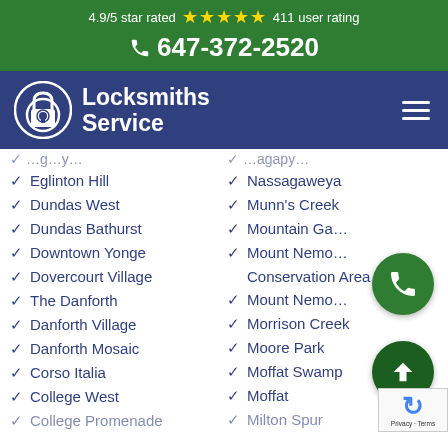4.9/5 star rated ★★★★★ 411 user rating
647-372-2520
[Figure (logo): Locksmiths Service logo with padlock icon on dark blue nav bar]
Eglinton Hill
Nassagaweya
Dundas West
Munn's Creek
Dundas Bathurst
Mountain Ga…
Downtown Yonge
Mount Nemo…
Dovercourt Village
Conservation Area
The Danforth
Mount Nemo…
Danforth Village
Morrison Creek
Danforth Mosaic
Moore Park
Corso Italia
Moffat Swamp
College West
Moffat
College Promenade
Milton Spur